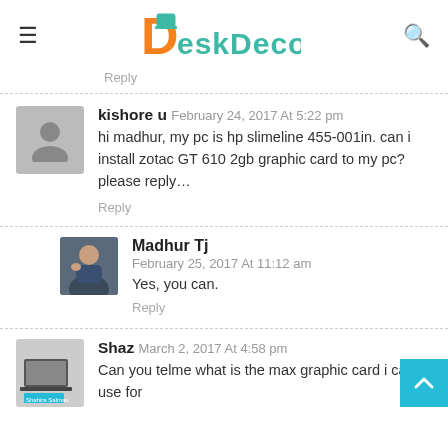[Figure (logo): DeskDecode website logo with orange D and teal/green text]
Reply
kishore u  February 24, 2017 At 5:22 pm
hi madhur, my pc is hp slimeline 455-001in. can i install zotac GT 610 2gb graphic card to my pc? please reply…
Reply
Madhur Tj
February 25, 2017 At 11:12 am
Yes, you can.
Reply
Shaz  March 2, 2017 At 4:58 pm
Can you telme what is the max graphic card i can use for